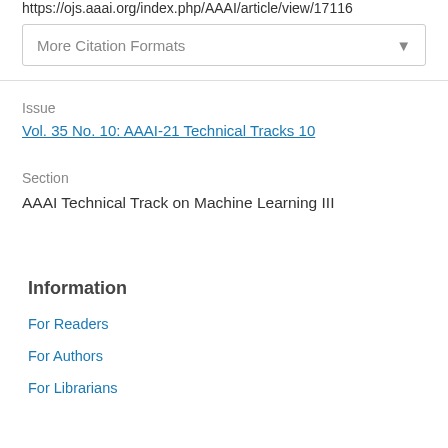https://ojs.aaai.org/index.php/AAAI/article/view/17116
More Citation Formats
Issue
Vol. 35 No. 10: AAAI-21 Technical Tracks 10
Section
AAAI Technical Track on Machine Learning III
Information
For Readers
For Authors
For Librarians